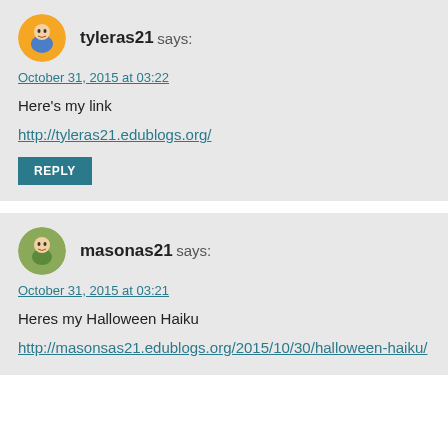tyleras21 says:
October 31, 2015 at 03:22
Here's my link
http://tyleras21.edublogs.org/
REPLY
masonas21 says:
October 31, 2015 at 03:21
Heres my Halloween Haiku
http://masonsas21.edublogs.org/2015/10/30/halloween-haiku/